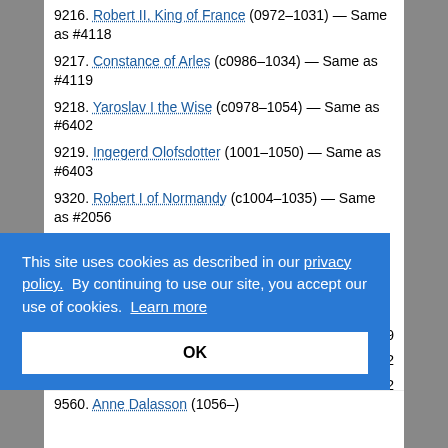9216. Robert II, King of France (0972–1031) — Same as #4118
9217. Constance of Arles (c0986–1034) — Same as #4119
9218. Yaroslav I the Wise (c0978–1054) — Same as #6402
9219. Ingegerd Olofsdotter (1001–1050) — Same as #6403
9320. Robert I of Normandy (c1004–1035) — Same as #2056
9321. Herleve of Falaise (c1003–c1050) — Same as #2057
9322. Baudoin V of Flanders (c1012–1067) — Same as #2058
#2059
1932
62
This site uses cookies as described in our privacy policy. By continuing to use our site, you accept our use of cookies. Learn more
OK
9560. Anne Dalasson (1056–)